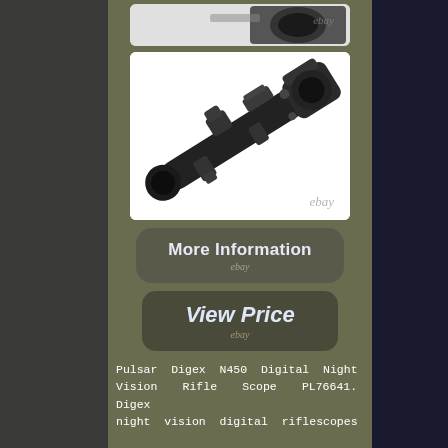[Figure (photo): Partial product image of night vision rifle scope at top, eBay watermark visible]
[Figure (photo): Pulsar Digex N450 Digital Night Vision Rifle Scope product photo on white background with eBay watermark]
[Figure (other): More Information button with eBay branding]
[Figure (other): View Price button with eBay branding]
Pulsar Digex N450 Digital Night Vision Rifle Scope PL76641. Digex night vision digital riflescopes